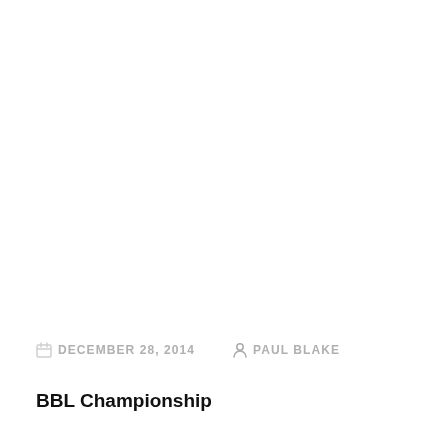DECEMBER 28, 2014   PAUL BLAKE
BBL Championship